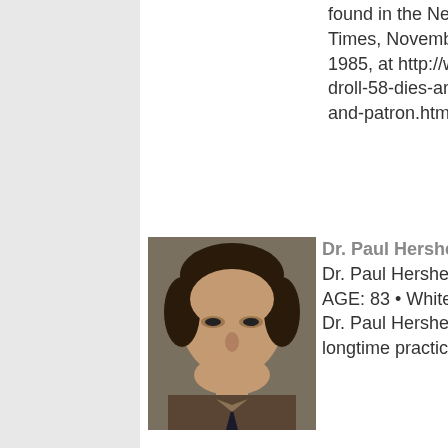found in the New York Times, November 19, 1985, at http://www.ny droll-58-dies-art-dealer-and-patron.html.
[Figure (photo): Headshot portrait photo of Dr. Paul Hershenson, a middle-aged man with dark hair, wearing a dark tie and plaid shirt]
Dr. Paul Hershensho Dr. Paul Hershenson AGE: 83 • White Plains Dr. Paul Hershenson, a longtime practicing